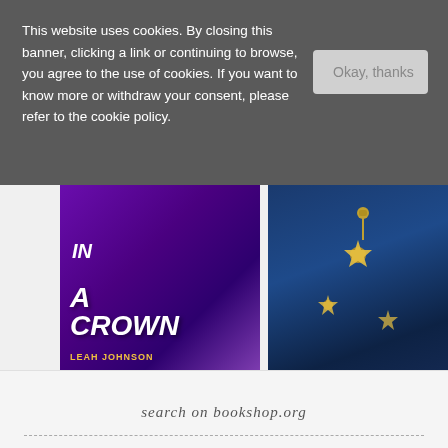This website uses cookies. By closing this banner, clicking a link or continuing to browse, you agree to the use of cookies. If you want to know more or withdraw your consent, please refer to the cookie policy.
[Figure (screenshot): Cookie consent banner overlay with gray background, cookie policy text on left and 'Okay, thanks' button on right]
[Figure (photo): Book cover: 'In a Crown' by Leah Johnson, purple background with figure]
[Figure (photo): Book cover with dark blue background featuring a key, stars, and nighttime imagery]
VIEW ALL BOOKS ON BOOKSHOP.ORG
search on bookshop.org